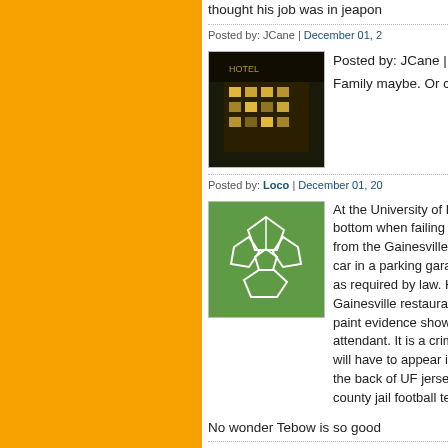thought his job was in jeapo
Posted by: JCane | December 01, 2...
[Figure (photo): Thumbnail photo of a building at night with lights]
Posted by: JCane | December... Family maybe. Or change of...
Posted by: Loco | December 01, 20...
[Figure (illustration): Green soccer ball / football pattern icon]
At the University of Felons, U... bottom when failing to be a la... from the Gainesville paper U... car in a parking garage and d... as required by law. He was is... Gainesville restaurant. He sa... paint evidence showed other... attendant. It is a criminal offe... will have to appear in court. I... the back of UF jerseys stood... county jail football team. It all...
No wonder Tebow is so good...